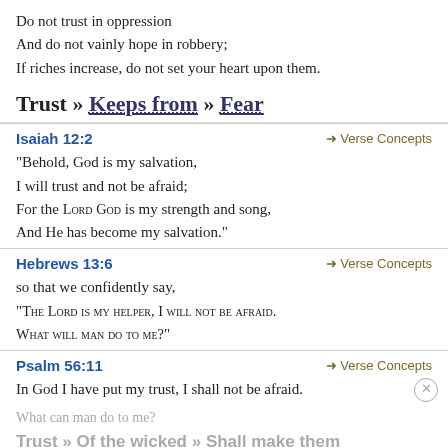Do not trust in oppression
And do not vainly hope in robbery;
If riches increase, do not set your heart upon them.
Trust » Keeps from » Fear
Isaiah 12:2 → Verse Concepts
“Behold, God is my salvation,
I will trust and not be afraid;
For the Lord God is my strength and song,
And He has become my salvation.”
Hebrews 13:6 → Verse Concepts
so that we confidently say,
“The Lord is my helper, I will not be afraid.
What will man do to me?”
Psalm 56:11 → Verse Concepts
In God I have put my trust, I shall not be afraid.
What can man do to me?
Trust » Of the wicked » Shall make them